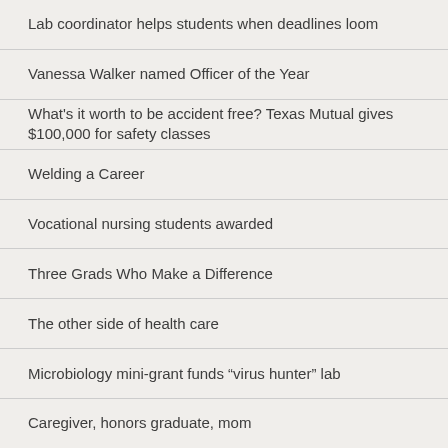Lab coordinator helps students when deadlines loom
Vanessa Walker named Officer of the Year
What's it worth to be accident free? Texas Mutual gives $100,000 for safety classes
Welding a Career
Vocational nursing students awarded
Three Grads Who Make a Difference
The other side of health care
Microbiology mini-grant funds “virus hunter” lab
Caregiver, honors graduate, mom